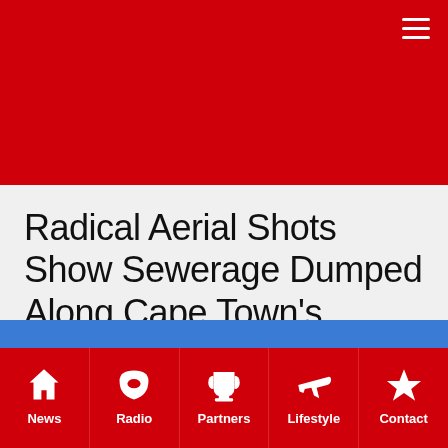Radical Aerial Shots Show Sewerage Dumped Along Cape Town's Atlantic Seaboard [Video]
June 15, 2015 by Jasmine Stone
News | Radio | Partners | Lifestyle | Contact